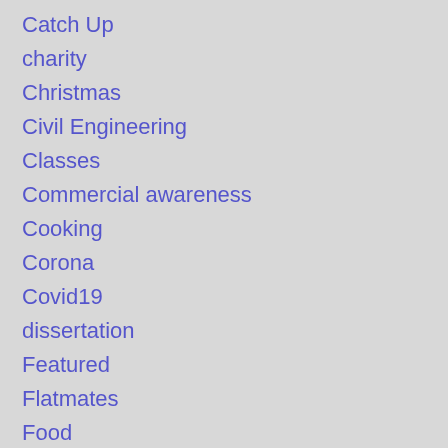Catch Up
charity
Christmas
Civil Engineering
Classes
Commercial awareness
Cooking
Corona
Covid19
dissertation
Featured
Flatmates
Food
Guidance
Guilt Free TV
home
Internships
Introductions